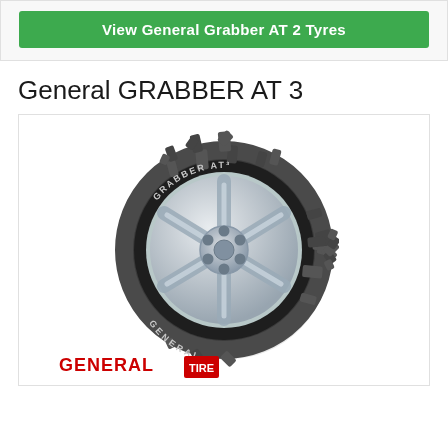[Figure (other): Green button with white bold text reading 'View General Grabber AT 2 Tyres' inside a light grey bordered box]
General GRABBER AT 3
[Figure (photo): Photo of a General Grabber AT3 all-terrain tyre mounted on a silver alloy wheel, showing aggressive tread pattern with the GRABBER AT3 lettering on the sidewall. General brand logo visible at bottom of the tyre image.]